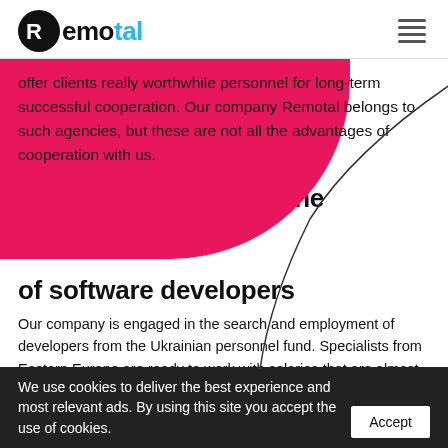Remotal
offer clients really worthwhile personnel for long-term successful cooperation. Our company Remotal belongs to such agencies, but these are not all the advantages of cooperation with us.
Recruiting agency for the selection of software developers
Our company is engaged in the search and employment of developers from the Ukrainian personnel fund. Specialists from Eastern Europe are ready to work with salaries that are almost half that of local candidates. Moreover, their qualifications, experience, and skills are not inferior to the
We use cookies to deliver the best experience and most relevant ads. By using this site you accept the use of cookies.